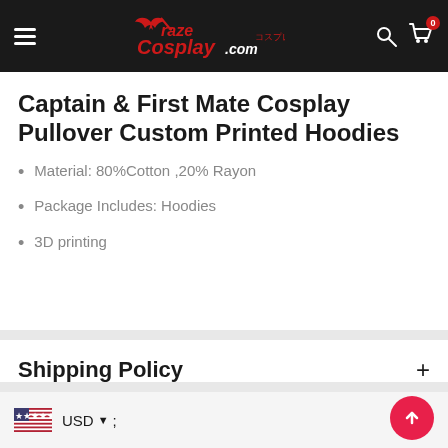Craze Cosplay .com — Navigation header with hamburger menu, logo, search icon, and cart (0)
Captain & First Mate Cosplay Pullover Custom Printed Hoodies
Material: 80%Cotton ,20% Rayon
Package Includes: Hoodies
3D printing
Shipping Policy
USD ▼ ;